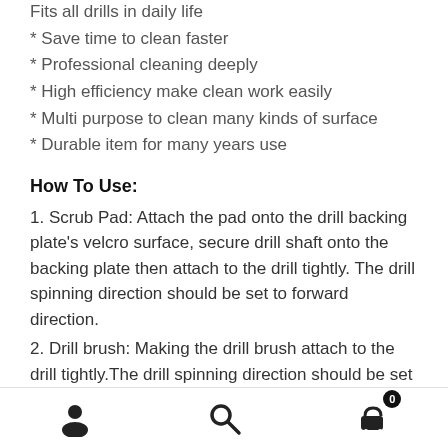Fits all drills in daily life
* Save time to clean faster
* Professional cleaning deeply
* High efficiency make clean work easily
* Multi purpose to clean many kinds of surface
* Durable item for many years use
How To Use:
1. Scrub Pad: Attach the pad onto the drill backing plate's velcro surface, secure drill shaft onto the backing plate then attach to the drill tightly. The drill spinning direction should be set to forward direction.
2. Drill brush: Making the drill brush attach to the drill tightly.The drill spinning direction should be set to forward direction.
[Figure (infographic): Bottom navigation bar with user/account icon, search icon, and shopping cart icon with badge showing 0]